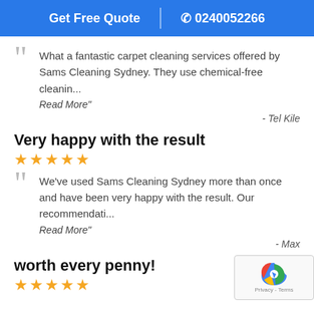Get Free Quote | 0240052266
What a fantastic carpet cleaning services offered by Sams Cleaning Sydney. They use chemical-free cleanin...
Read More"
- Tel Kile
Very happy with the result
★★★★★
We've used Sams Cleaning Sydney more than once and have been very happy with the result. Our recommendati...
Read More"
- Max
worth every penny!
★★★★★